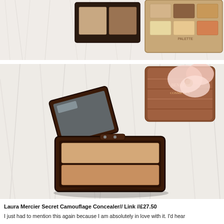[Figure (photo): Top-down photo of two makeup concealer palettes on a white fluffy surface. One palette is dark/black with two rectangular pans, the other is a tan/beige palette with six square color pans.]
[Figure (photo): Photo of an open Laura Mercier Secret Camouflage Concealer compact with two rectangular pans in peach/tan shades, lying open on a white fluffy surface with flowers and a decorative tin in the background.]
Laura Mercier Secret Camouflage Concealer// Link //£27.50
I just had to mention this again because I am absolutely in love with it. I'd hear